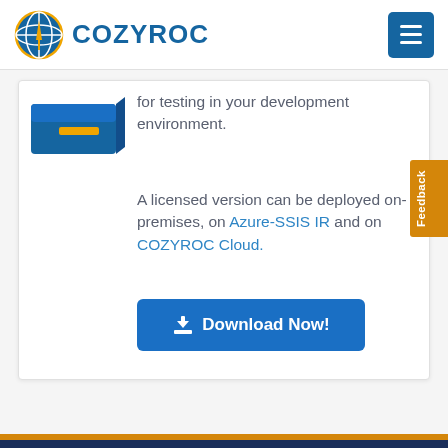COZYROC
[Figure (logo): COZYROC logo with globe/antenna icon and blue text]
for testing in your development environment.
A licensed version can be deployed on-premises, on Azure-SSIS IR and on COZYROC Cloud.
[Figure (other): Download Now! button in blue with download icon]